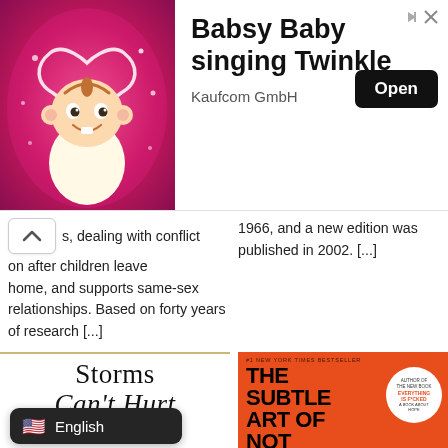[Figure (screenshot): Advertisement banner: Babsy Baby singing Twinkle, Kaufcom GmbH, with Open button and baby cartoon image on pink background]
s, dealing with conflict on after children leave home, and supports same-sex relationships. Based on forty years of research [...]
1966, and a new edition was published in 2002. [...]
[Figure (photo): Book cover: Storms Can't Hurt the Sky - A Buddhist Path, white background with elegant serif typography and bowl with water image]
[Figure (photo): Book cover: The Subtle Art of Not Giving a F*ck - A Counterintuitive Approach to Living a Good Life by Mark Manson, orange cover]
English